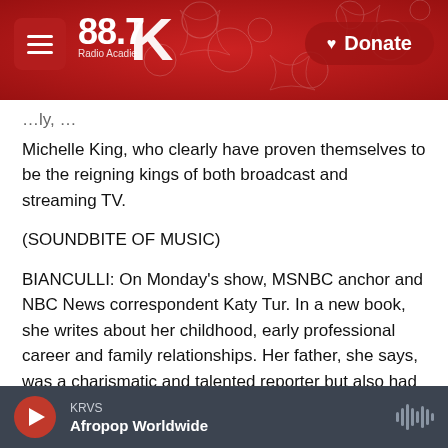KRVS 88.7 Radio Acadie — Donate
Michelle King, who clearly have proven themselves to be the reigning kings of both broadcast and streaming TV.
(SOUNDBITE OF MUSIC)
BIANCULLI: On Monday's show, MSNBC anchor and NBC News correspondent Katy Tur. In a new book, she writes about her childhood, early professional career and family relationships. Her father, she says, was a charismatic and talented reporter but also had a volatile temper. Her dad came out as a trans woman in 2013. Tur's book is
KRVS — Afropop Worldwide